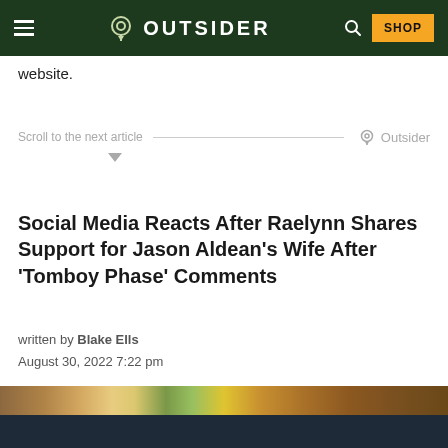OUTSIDER | SHOP
website.
Scroll to the next article
Social Media Reacts After Raelynn Shares Support for Jason Aldean’s Wife After ‘Tomboy Phase’ Comments
written by Blake Ells
August 30, 2022 7:22 pm
[Figure (photo): Partial image strip at the bottom of the article preview]